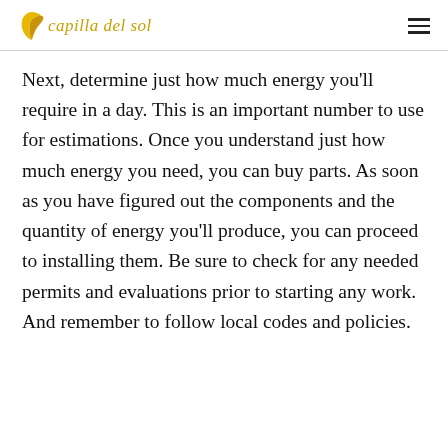capilla del sol
Next, determine just how much energy you'll require in a day. This is an important number to use for estimations. Once you understand just how much energy you need, you can buy parts. As soon as you have figured out the components and the quantity of energy you'll produce, you can proceed to installing them. Be sure to check for any needed permits and evaluations prior to starting any work. And remember to follow local codes and policies.